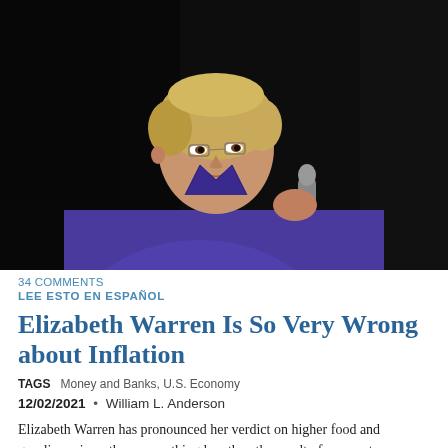[Figure (photo): Elizabeth Warren in a blue/purple blazer holding a microphone, photographed against a dark background, looking upward to her right.]
34 COMMENTS
LEE ESTO EN ESPAÑOL
Elizabeth Warren Is So Very Wrong about Inflation
TAGS   Money and Banks, U.S. Economy
12/02/2021  •  William L. Anderson
Elizabeth Warren has pronounced her verdict on higher food and gasoline prices: they are nothing less than the result of corporate